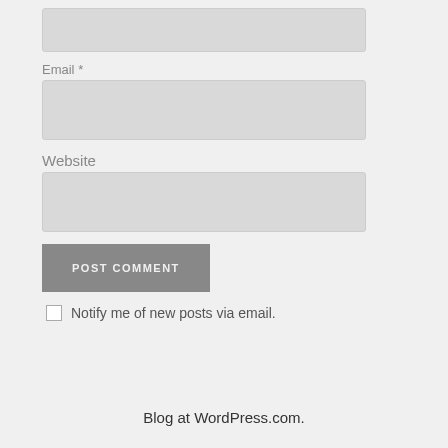[Figure (screenshot): Text input field (empty) at top of page]
Email *
[Figure (screenshot): Email text input field (empty)]
Website
[Figure (screenshot): Website text input field (empty)]
POST COMMENT
Notify me of new posts via email.
Blog at WordPress.com.